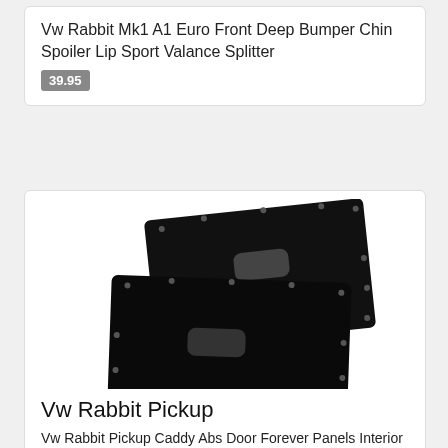Vw Rabbit Mk1 A1 Euro Front Deep Bumper Chin Spoiler Lip Sport Valance Splitter
39.95
[Figure (photo): Two black ABS door panels for VW Rabbit Pickup/Caddy, each with a rectangular handle cutout and small mounting holes around the perimeter, overlapping at an angle.]
Vw Rabbit Pickup
Vw Rabbit Pickup Caddy Abs Door Forever Panels Interior Volkswagen
85.00